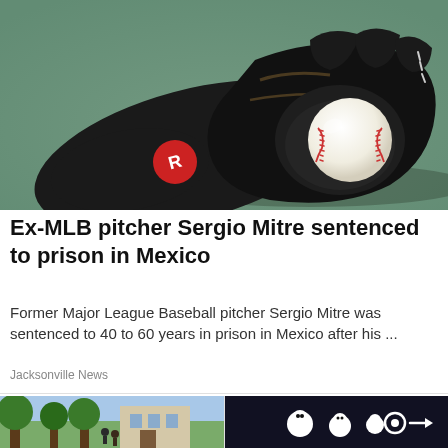[Figure (photo): Black Rawlings baseball glove with a white baseball resting inside, lying on a green surface/turf]
Ex-MLB pitcher Sergio Mitre sentenced to prison in Mexico
Former Major League Baseball pitcher Sergio Mitre was sentenced to 40 to 60 years in prison in Mexico after his ...
Jacksonville News
[Figure (photo): Outdoor scene with trees and buildings — partial thumbnail]
[Figure (photo): Dark surface with cartoon/sticker figures — partial thumbnail]